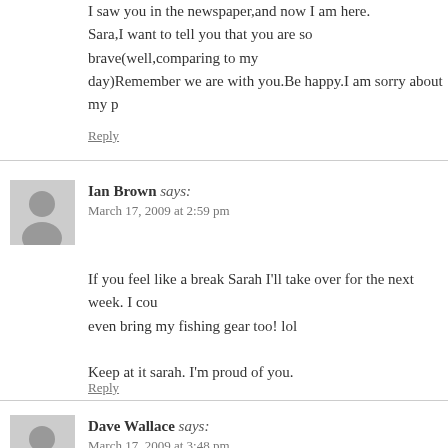I saw you in the newspaper,and now I am here.
Sara,I want to tell you that you are so brave(well,comparing to my
day)Remember we are with you.Be happy.I am sorry about my p
Reply
Ian Brown says:
March 17, 2009 at 2:59 pm
If you feel like a break Sarah I'll take over for the next week. I cou
even bring my fishing gear too! lol

Keep at it sarah. I'm proud of you.
Reply
Dave Wallace says:
March 17, 2009 at 3:48 pm
Sarah is embarasingly open here.